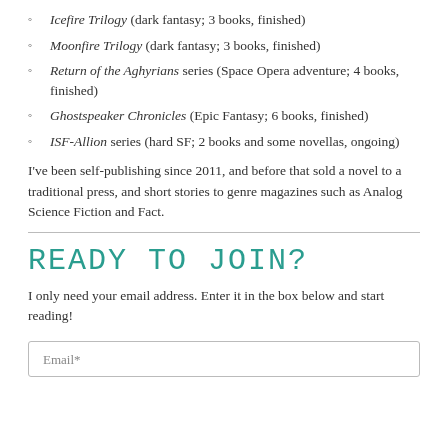Icefire Trilogy (dark fantasy; 3 books, finished)
Moonfire Trilogy (dark fantasy; 3 books, finished)
Return of the Aghyrians series (Space Opera adventure; 4 books, finished)
Ghostspeaker Chronicles (Epic Fantasy; 6 books, finished)
ISF-Allion series (hard SF; 2 books and some novellas, ongoing)
I've been self-publishing since 2011, and before that sold a novel to a traditional press, and short stories to genre magazines such as Analog Science Fiction and Fact.
Ready to Join?
I only need your email address. Enter it in the box below and start reading!